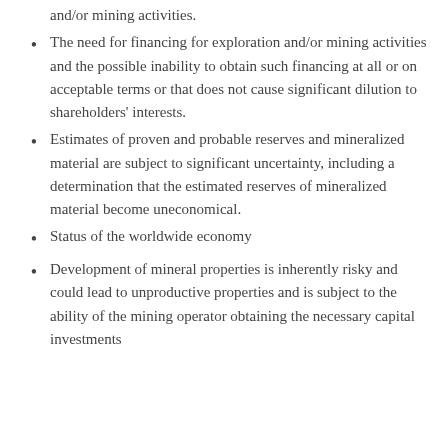and/or mining activities.
The need for financing for exploration and/or mining activities and the possible inability to obtain such financing at all or on acceptable terms or that does not cause significant dilution to shareholders' interests.
Estimates of proven and probable reserves and mineralized material are subject to significant uncertainty, including a determination that the estimated reserves of mineralized material become uneconomical.
Status of the worldwide economy
Development of mineral properties is inherently risky and could lead to unproductive properties and is subject to the ability of the mining operator obtaining the necessary capital investments